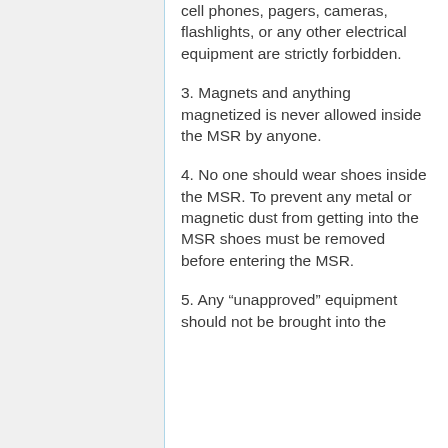cell phones, pagers, cameras, flashlights, or any other electrical equipment are strictly forbidden.
3. Magnets and anything magnetized is never allowed inside the MSR by anyone.
4. No one should wear shoes inside the MSR. To prevent any metal or magnetic dust from getting into the MSR shoes must be removed before entering the MSR.
5. Any “unapproved” equipment should not be brought into the